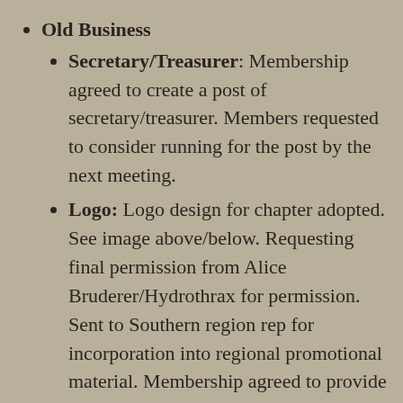Old Business
Secretary/Treasurer: Membership agreed to create a post of secretary/treasurer. Members requested to consider running for the post by the next meeting.
Logo: Logo design for chapter adopted. See image above/below. Requesting final permission from Alice Bruderer/Hydrothrax for permission. Sent to Southern region rep for incorporation into regional promotional material. Membership agreed to provide Bruderer with complimentary materials wherever logo is used (e.g., T-shirts, chapter coins, etc.)